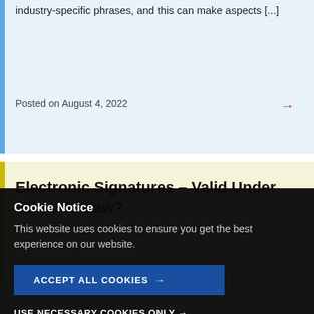industry-specific phrases, and this can make aspects [...]
Posted on August 4, 2022
Electronic Signatures – Valid Under Gibraltar Law?
Cookie Notice
This website uses cookies to ensure you get the best experience on our website.
ACCEPT ALL COOKIES →
USE NECESSARY COOKIES ONLY →